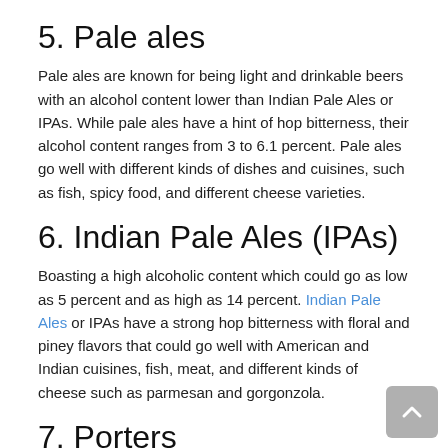5. Pale ales
Pale ales are known for being light and drinkable beers with an alcohol content lower than Indian Pale Ales or IPAs. While pale ales have a hint of hop bitterness, their alcohol content ranges from 3 to 6.1 percent. Pale ales go well with different kinds of dishes and cuisines, such as fish, spicy food, and different cheese varieties.
6. Indian Pale Ales (IPAs)
Boasting a high alcoholic content which could go as low as 5 percent and as high as 14 percent. Indian Pale Ales or IPAs have a strong hop bitterness with floral and piney flavors that could go well with American and Indian cuisines, fish, meat, and different kinds of cheese such as parmesan and gorgonzola.
7. Porters
Being chocolatier than brown ales and less coffee-like than stouts when it comes to flavor, porters are characterized